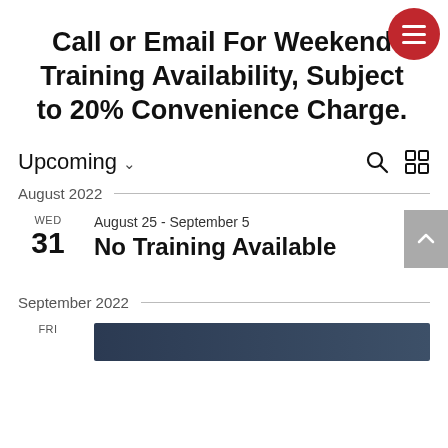Call or Email For Weekend Training Availability, Subject to 20% Convenience Charge.
Upcoming
August 2022
WED 31 August 25 - September 5
No Training Available
September 2022